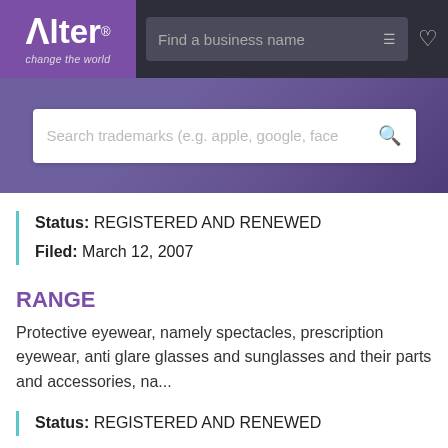[Figure (logo): Alter 'change the world' logo with purple background]
Find a business name
[Figure (screenshot): Search trademarks input bar with search icon]
Status: REGISTERED AND RENEWED
Filed: March 12, 2007
RANGE
Protective eyewear, namely spectacles, prescription eyewear, anti glare glasses and sunglasses and their parts and accessories, na...
Status: REGISTERED AND RENEWED